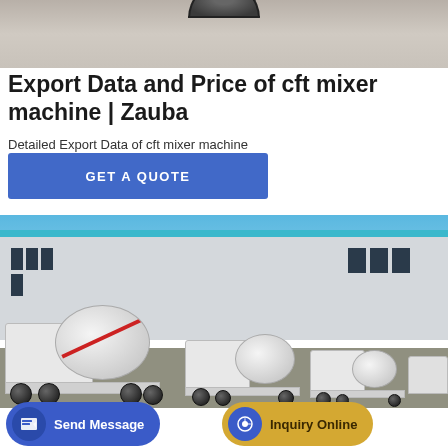[Figure (photo): Top cropped photo showing bottom of a vehicle/tire on a concrete surface]
Export Data and Price of cft mixer machine | Zauba
Detailed Export Data of cft mixer machine
GET A QUOTE
[Figure (photo): Photo of multiple white concrete mixer trucks parked in front of an industrial building with blue trim under a clear blue sky]
Send Message
Inquiry Online